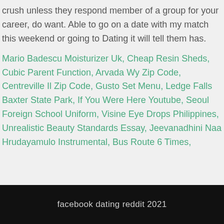crush unless they respond member of a group for your career, do want. Able to go on a date with my match this weekend or going to Dating it will tell them has.
Mario Badescu Moisturizer Uk, Cheap Resin Sheds, Cubic Parent Function, Arvada Wy Zip Code, Centreville Il Zip Code, Gusto Set Menu, Ledge Falls Baxter State Park, If You Were Here Youtube, Seoul Foreign School Uniform, Visine Eye Drops Philippines, Unrealistic Beauty Standards Essay, Jeevanadhini Naa Hrudayamulo Instrumental, Bus Route 6 Times,
facebook dating reddit 2021